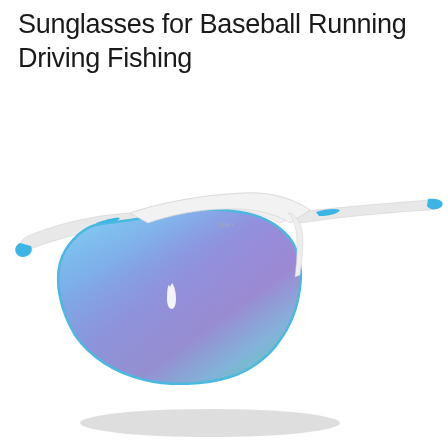Sunglasses for Baseball Running Driving Fishing
[Figure (photo): White and blue sport wraparound sunglasses with large iridescent/rainbow-blue single lens, white frame with blue accent tips on the temples, shown at a slight angle floating on white background with soft shadow beneath]